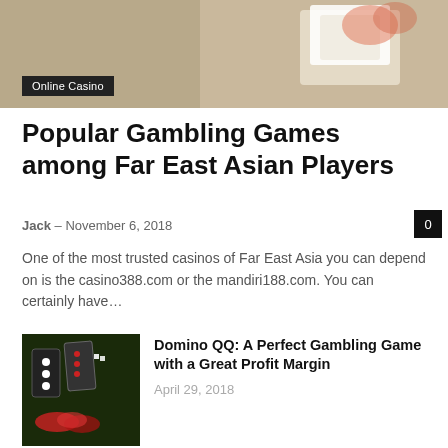[Figure (photo): Hero image showing casino/gambling scene, cropped at top, with playing cards and chips visible]
Online Casino
Popular Gambling Games among Far East Asian Players
Jack – November 6, 2018
One of the most trusted casinos of Far East Asia you can depend on is the casino388.com or the mandiri188.com. You can certainly have…
[Figure (photo): Domino QQ gambling game image showing dominoes and poker chips]
Domino QQ: A Perfect Gambling Game with a Great Profit Margin
April 29, 2018
[Figure (photo): Photo of a poker player at a casino table with chips]
Factors To Consider Before Becoming A Full-Time Poker Player
October 25, 2020
HOT NEWS